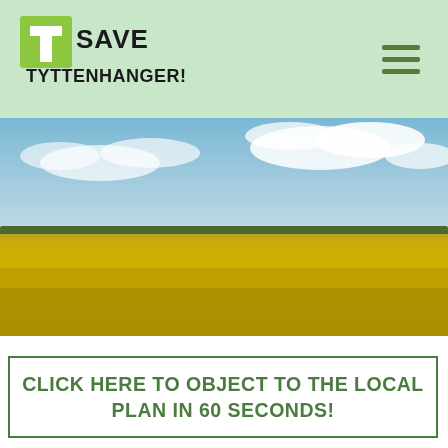[Figure (logo): Save Tyttenhanger! logo with green T-shape graphic and bold black handwritten text]
[Figure (photo): Wide panoramic photo of a yellow rapeseed field under a blue sky with white clouds]
CLICK HERE TO OBJECT TO THE LOCAL PLAN IN 60 SECONDS!